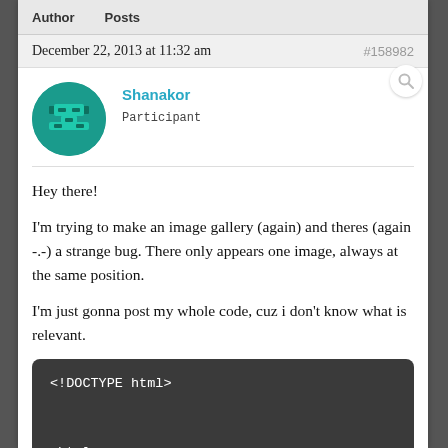Author    Posts
December 22, 2013 at 11:32 am   #158982
Shanakor
Participant
Hey there!

I'm trying to make an image gallery (again) and theres (again -.-) a strange bug. There only appears one image, always at the same position.

I'm just gonna post my whole code, cuz i don't know what is relevant.
[Figure (screenshot): Code block showing HTML: <!DOCTYPE html> <html> <head>]